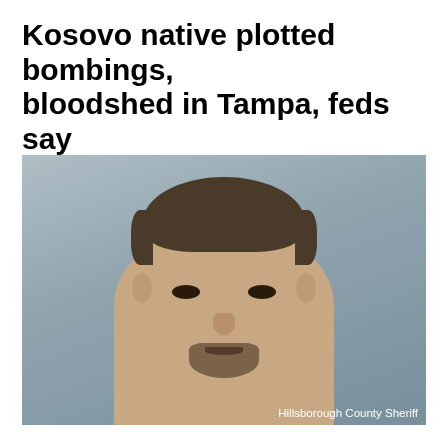Kosovo native plotted bombings, bloodshed in Tampa, feds say
By the CNN Wire Staff
Updated 5:53 PM EST, Mon January 9, 2012
[Figure (photo): Mugshot of a young man with short dark hair and a goatee beard, against a gray background. Hillsborough County Sheriff photo.]
Hillsborough County Sheriff